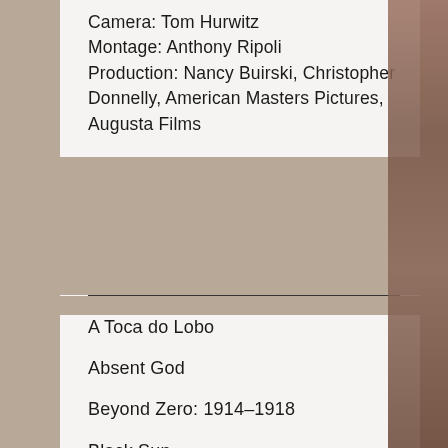Camera: Tom Hurwitz
Montage: Anthony Ripoli
Production: Nancy Buirski, Christopher Donnelly, American Masters Pictures, Augusta Films
A Toca do Lobo
Absent God
Beyond Zero: 1914–1918
Black Sun